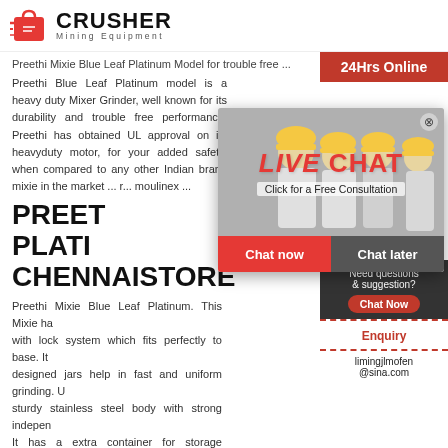CRUSHER Mining Equipment
Preethi Mixie Blue Leaf Platinum Model for trouble free ...
Preethi Blue Leaf Platinum model is a heavy duty Mixer Grinder, well known for its durability and trouble free performance. Preethi has obtained UL approval on its heavyduty motor, for your added safety, when compared to any other Indian brand mixie in the market ... r... moulinex ...
PREETHI BLUE LEAF PLATINUM CHENNAISTORE
[Figure (photo): Live Chat popup overlay showing workers in yellow hard hats and a customer service representative, with 'LIVE CHAT - Click for a Free Consultation' text, Chat now and Chat later buttons]
Preethi Mixie Blue Leaf Platinum. This Mixie ha... with lock system which fits perfectly to base. It... designed jars help in fast and uniform grinding. U... sturdy stainless steel body with strong indepen... It has a extra container for storage purpose. It h... extractor for juicing purpose.
24Hrs Online
Need questions & suggestion?
Chat Now
Enquiry
limingjlmofen@sina.com